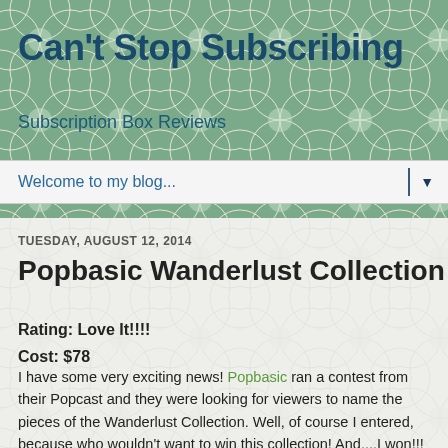Can't Stop Subscribing
Subscription Box Reviews
Welcome to my blog...
TUESDAY, AUGUST 12, 2014
Popbasic Wanderlust Collection
Rating: Love It!!!!
Cost: $78
I have some very exciting news! Popbasic ran a contest from their Popcast and they were looking for viewers to name the pieces of the Wanderlust Collection. Well, of course I entered, because who wouldn't want to win this collection! And....I won!!! I was so happy and excited and they sent it out right away, so I have it in my hands before the collection